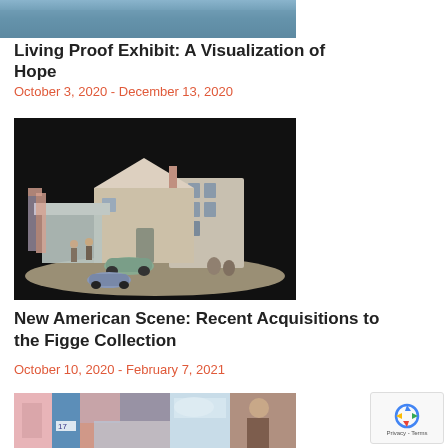[Figure (photo): Partial top image, partially cropped at the top of the page, appears to be an outdoor/sky scene]
Living Proof Exhibit: A Visualization of Hope
October 3, 2020 - December 13, 2020
[Figure (photo): Ceramic or clay miniature diorama of an American small-town street scene with buildings, cars, and figures, on a dark background]
New American Scene: Recent Acquisitions to the Figge Collection
October 10, 2020 - February 7, 2021
[Figure (photo): Partial bottom image showing colorful collage of smaller images including pink, blue tones and figures]